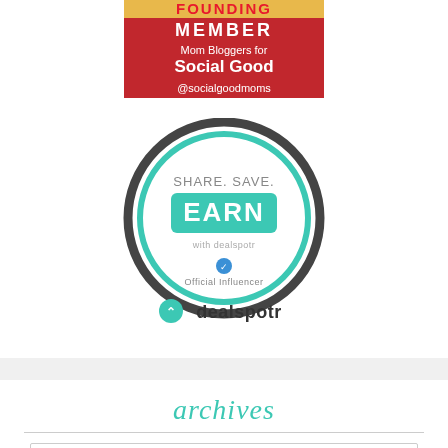[Figure (logo): Founding Member badge for Mom Bloggers for Social Good @socialgoodmoms — red background with yellow/white bold text and teal stripe]
[Figure (logo): Dealspotr Official Influencer badge — circular grey ring with teal inner ring, text SHARE. SAVE. EARN with green rounded button, verified checkmark icon and dealspotr logo below]
archives
[Figure (other): Dropdown select box labeled 'Select Month' with dropdown arrow]